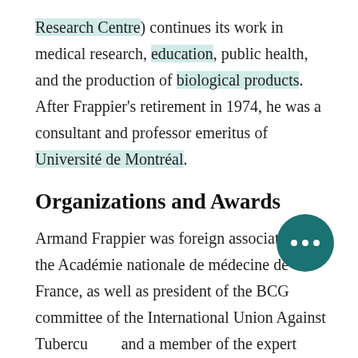Research Centre) continues its work in medical research, education, public health, and the production of biological products. After Frappier's retirement in 1974, he was a consultant and professor emeritus of Université de Montréal.
Organizations and Awards
Armand Frappier was foreign associate of the Académie nationale de médecine de France, as well as president of the BCG committee of the International Union Against Tubercu... and a member of the expert panel on T... the World Health Organization. Among other honours, he was a Companion of the Order of